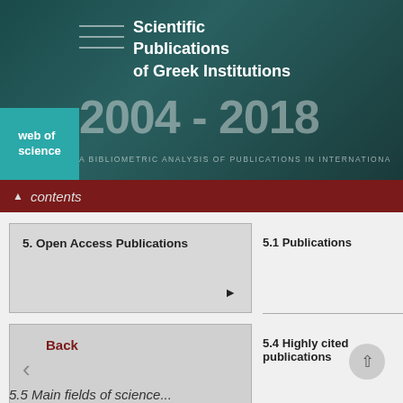[Figure (other): Dark teal banner background with title 'Scientific Publications of Greek Institutions', years '2004-2018', and subtitle 'A BIBLIOMETRIC ANALYSIS OF PUBLICATIONS IN INTERNATIONAL...' with a teal 'web of science' badge on the left]
▲ contents
5. Open Access Publications
5.1 Publications
Back
5.4 Highly cited publications
5.5 Main fields of science...